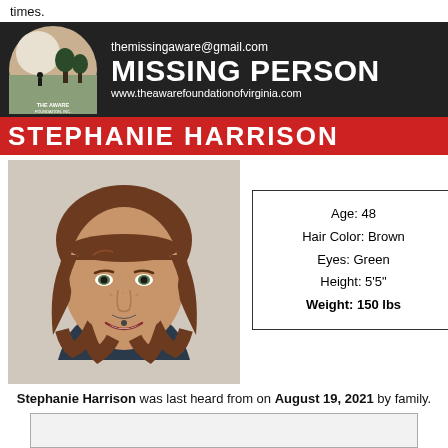times.
[Figure (infographic): Missing person flyer for Stephanie Harrison by The AWARE Foundation, Inc. Shows logo, contact email themissingaware@gmail.com, website www.theawarefoundationofvirginia.com, name banner in red, photo of woman with brown wavy hair, and personal details box.]
Age: 48
Hair Color: Brown
Eyes: Green
Height: 5'5"
Weight: 150 lbs
Stephanie Harrison was last heard from on August 19, 2021 by family.